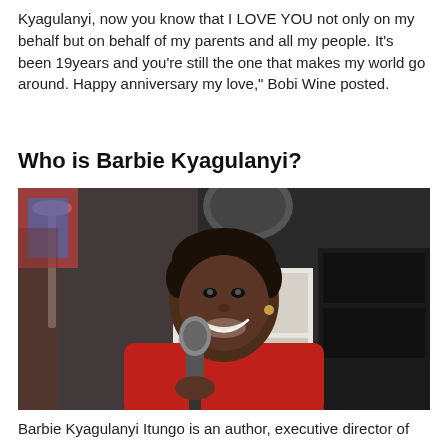Kyagulanyi, now you know that I LOVE YOU not only on my behalf but on behalf of my parents and all my people. It's been 19years and you're still the one that makes my world go around. Happy anniversary my love," Bobi Wine posted.
Who is Barbie Kyagulanyi?
[Figure (photo): A woman in a red blazer smiling and holding a microphone, with a blurred background showing musical equipment and studio setting.]
Barbie Kyagulanyi Itungo is an author, executive director of